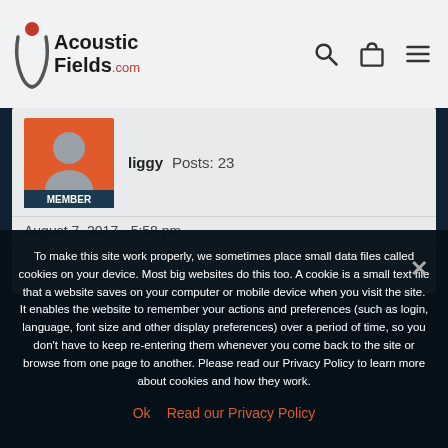Acoustic Fields .com
liggy  Posts: 23
August 7, 2017 - 5:58 pm
1
To make this site work properly, we sometimes place small data files called cookies on your device. Most big websites do this too. A cookie is a small text file that a website saves on your computer or mobile device when you visit the site. It enables the website to remember your actions and preferences (such as login, language, font size and other display preferences) over a period of time, so you don't have to keep re-entering them whenever you come back to the site or browse from one page to another. Please read our Privacy Policy to learn more about cookies and how they work.
Ok   Read our Privacy Policy